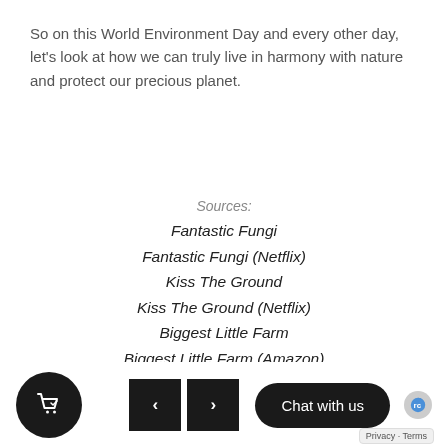So on this World Environment Day and every other day, let's look at how we can truly live in harmony with nature and protect our precious planet.
Sources:
Fantastic Fungi
Fantastic Fungi (Netflix)
Kiss The Ground
Kiss The Ground (Netflix)
Biggest Little Farm
Biggest Little Farm (Amazon)
Cart | < | > | Chat with us | Privacy - Terms